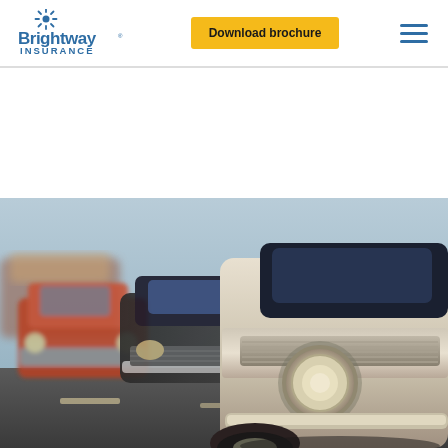[Figure (logo): Brightway Insurance logo - blue text with sunburst graphic above]
Download brochure
[Figure (photo): Row of vintage/classic cars lined up on a street, viewed from front-low angle, warm toned photography]